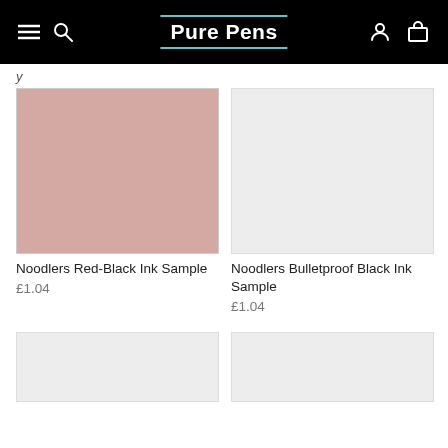Pure Pens
[Figure (photo): Noodlers Red-Black Ink Sample swatch — dusty rose/mauve pink texture]
Noodlers Red-Black Ink Sample
£1.04
[Figure (photo): Noodlers Bulletproof Black Ink Sample swatch — light grey/white texture]
Noodlers Bulletproof Black Ink Sample
£1.04
[Figure (photo): Partially visible product image — light grey swatch, bottom of page left]
[Figure (photo): Partially visible product image — light grey swatch, bottom of page right]